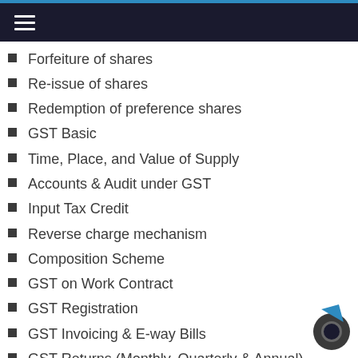Menu navigation bar
Forfeiture of shares
Re-issue of shares
Redemption of preference shares
GST Basic
Time, Place, and Value of Supply
Accounts & Audit under GST
Input Tax Credit
Reverse charge mechanism
Composition Scheme
GST on Work Contract
GST Registration
GST Invoicing & E-way Bills
GST Returns (Monthly, Quarterly & Annual)
GST Payments & Refund Process
Penalties under GST
GST Rates & HSN, SAC Code
New Proposed forms and annual return
The latest amendment to GST
Concept of TDS/TCS
Rates & Deductions under TDS/TCS